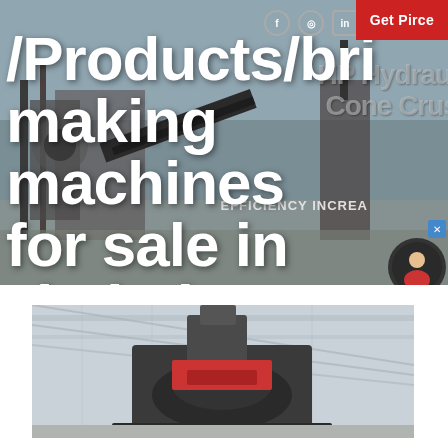Get Pirce
/Products/brick making machines for sale in zimbabwe
[Figure (photo): Industrial machinery / crushing plant equipment facility with conveyors and heavy machinery in outdoor setting]
[Figure (photo): Close-up of industrial brick making or crushing machine (dark red/grey machinery) in a warehouse setting]